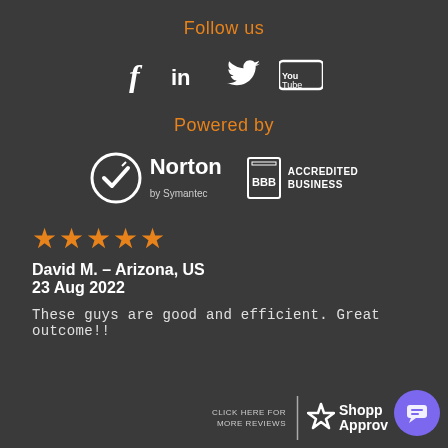Follow us
[Figure (infographic): Social media icons: Facebook (f), LinkedIn (in), Twitter (bird), YouTube (You Tube)]
Powered by
[Figure (logo): Norton by Symantec logo and BBB Accredited Business logo]
[Figure (infographic): Five orange star rating]
David M.  - Arizona, US
23 Aug 2022
These guys are good and efficient. Great outcome!!
[Figure (logo): Click here for more reviews | Shopper Approved logo]
[Figure (other): Purple chat bubble button in bottom right corner]